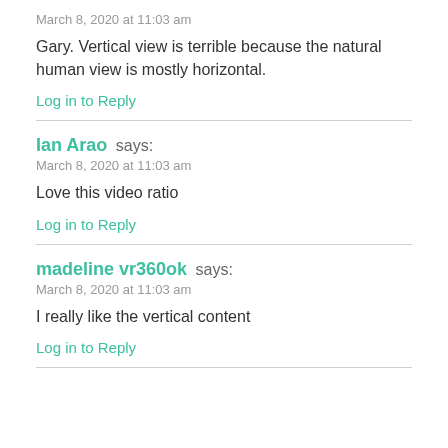March 8, 2020 at 11:03 am
Gary. Vertical view is terrible because the natural human view is mostly horizontal.
Log in to Reply
Ian Arao says:
March 8, 2020 at 11:03 am
Love this video ratio
Log in to Reply
madeline vr360ok says:
March 8, 2020 at 11:03 am
I really like the vertical content
Log in to Reply